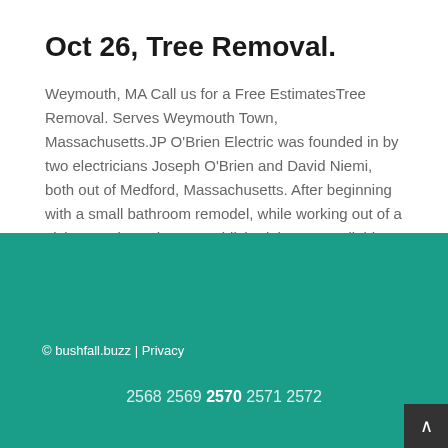Oct 26, Tree Removal.
Weymouth, MA Call us for a Free EstimatesTree Removal. Serves Weymouth Town, Massachusetts.JP O'Brien Electric was founded in by two electricians Joseph O'Brien and David Niemi, both out of Medford, Massachusetts. After beginning with a small bathroom remodel, while working out of a pickup truck, we have established the most reliable and trusted service around.
© bushfall.buzz | Privacy
2568 2569 2570 2571 2572